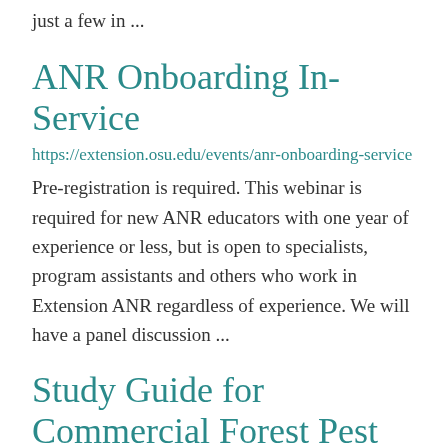just a few in ...
ANR Onboarding In-Service
https://extension.osu.edu/events/anr-onboarding-service
Pre-registration is required. This webinar is required for new ANR educators with one year of experience or less, but is open to specialists, program assistants and others who work in Extension ANR regardless of experience. We will have a panel discussion ...
Study Guide for Commercial Forest Pest Control Applicators